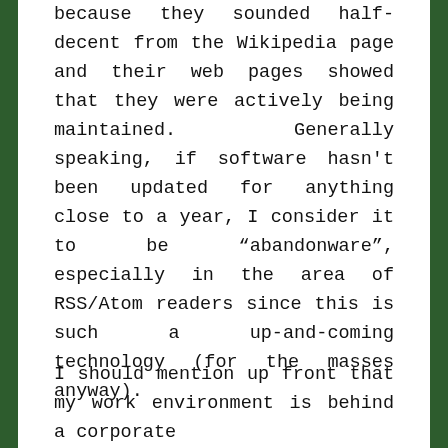because they sounded half-decent from the Wikipedia page and their web pages showed that they were actively being maintained. Generally speaking, if software hasn't been updated for anything close to a year, I consider it to be “abandonware”, especially in the area of RSS/Atom readers since this is such a up-and-coming technology (for the masses anyway).
I should mention up front that my work environment is behind a corporate